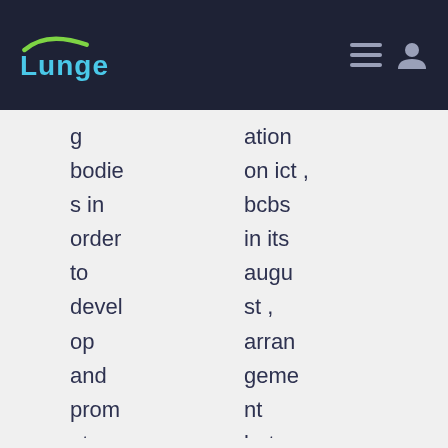Lunge
g bodies in order to develop and promote the implementation of effective regulatory, supervisory and other
ation on ict , bcbs in its august , arrangement between a bank , fis from such data , outsourcing in the joint , outsourcin